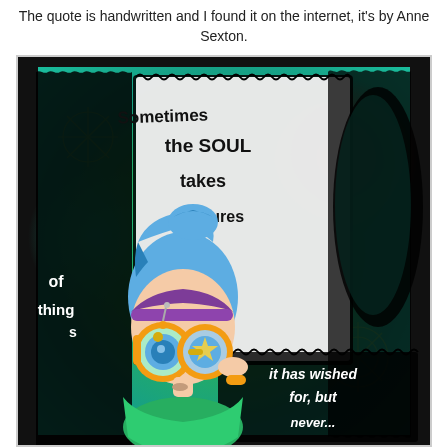The quote is handwritten and I found it on the internet, it's by Anne Sexton.
[Figure (illustration): Colorful mixed-media illustration featuring a steampunk-style girl with blue hair, wearing large gold goggles with a star design, a purple headband, and green outfit. The background is a vibrant green, teal, blue, and red abstract art background with black wavy borders resembling a postage stamp. White handwritten text reads 'Sometimes the soul takes pictures of things it has wished for, but never...' The figure is surrounded by decorative swirling patterns and keyhole shapes.]